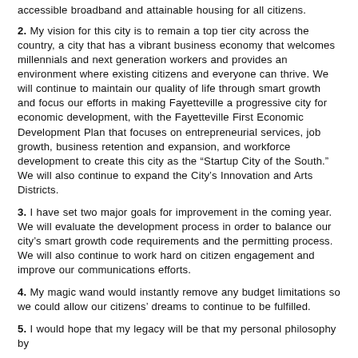accessible broadband and attainable housing for all citizens.
2. My vision for this city is to remain a top tier city across the country, a city that has a vibrant business economy that welcomes millennials and next generation workers and provides an environment where existing citizens and everyone can thrive. We will continue to maintain our quality of life through smart growth and focus our efforts in making Fayetteville a progressive city for economic development, with the Fayetteville First Economic Development Plan that focuses on entrepreneurial services, job growth, business retention and expansion, and workforce development to create this city as the “Startup City of the South.” We will also continue to expand the City’s Innovation and Arts Districts.
3. I have set two major goals for improvement in the coming year. We will evaluate the development process in order to balance our city’s smart growth code requirements and the permitting process. We will also continue to work hard on citizen engagement and improve our communications efforts.
4. My magic wand would instantly remove any budget limitations so we could allow our citizens’ dreams to continue to be fulfilled.
5. I would hope that my legacy will be that my personal philosophy by